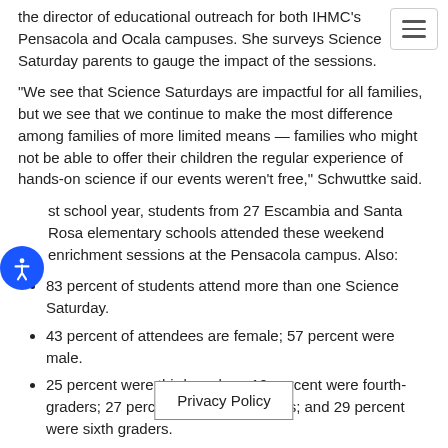the director of educational outreach for both IHMC's Pensacola and Ocala campuses. She surveys Science Saturday parents to gauge the impact of the sessions.
“We see that Science Saturdays are impactful for all families, but we see that we continue to make the most difference among families of more limited means — families who might not be able to offer their children the regular experience of hands-on science if our events weren’t free,” Schwuttke said.
st school year, students from 27 Escambia and Santa Rosa elementary schools attended these weekend enrichment sessions at the Pensacola campus. Also:
83 percent of students attend more than one Science Saturday.
43 percent of attendees are female; 57 percent were male.
25 percent were third-graders; 19 percent were fourth-graders; 27 percent were fifth graders; and 29 percent were sixth graders.
All families report that the sessions b… n’s scientific …
Privacy Policy